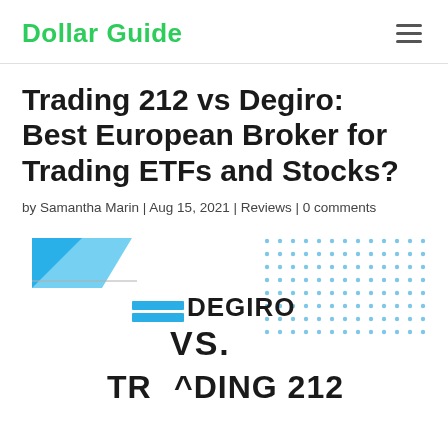Dollar Guide
Trading 212 vs Degiro: Best European Broker for Trading ETFs and Stocks?
by Samantha Marin | Aug 15, 2021 | Reviews | 0 comments
[Figure (illustration): DEGIRO vs Trading 212 logo comparison graphic with blue Trading 212 logo on the left, DEGIRO logo in the center, and 'VS.' text in the middle, with Trading 212 text partially visible at the bottom. Blue dot pattern on the right background.]